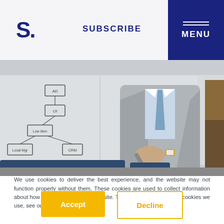S. | SUBSCRIBE | MENU
[Figure (photo): A man in a grey suit standing in front of a whiteboard with flowchart diagrams, holding a marker, in an office/classroom setting.]
We use cookies to deliver the best experience, and the website may not function properly without them. These cookies are used to collect information about how you interact with our website. To find out more about the cookies we use, see our Privacy Policy.
Accept
Decline